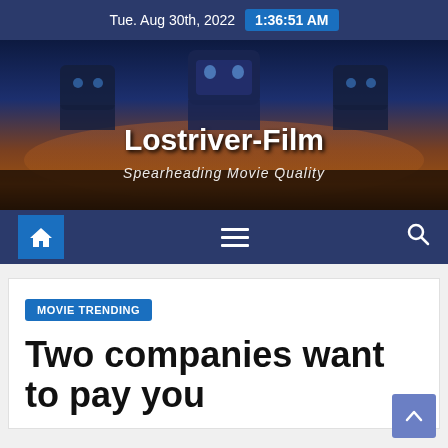Tue. Aug 30th, 2022  1:36:51 AM
[Figure (screenshot): Lostriver-Film website hero banner with sci-fi robot imagery, dark blue and orange/brown gradient background]
Lostriver-Film
Spearheading Movie Quality
MOVIE TRENDING
Two companies want to pay you